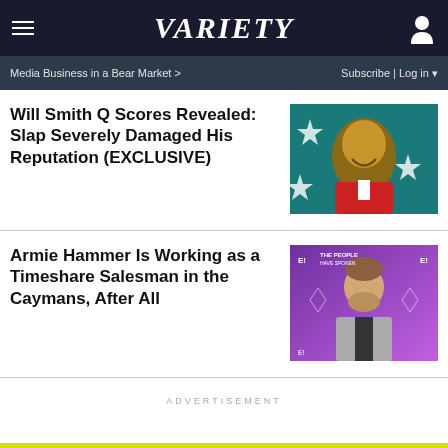VARIETY
Media Business in a Bear Market >
Subscribe | Log in
Will Smith Q Scores Revealed: Slap Severely Damaged His Reputation (EXCLUSIVE)
[Figure (photo): Will Smith smiling, wearing red jacket, teal background with white stars]
Armie Hammer Is Working as a Timeshare Salesman in the Caymans, After All
[Figure (photo): Armie Hammer at People's Choice Awards red carpet with E! branding]
ADVERTISEMENT